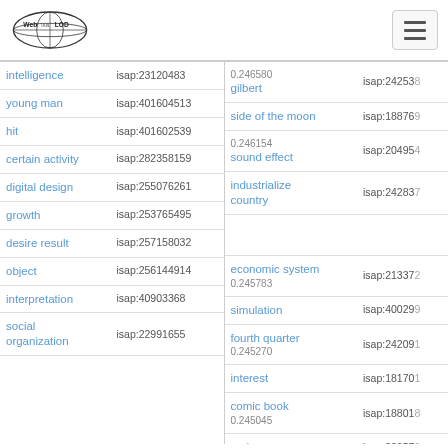WebIsaLOD logo and navigation menu
| Term (Left) | ISAP (Left) | Term (Right) | ISAP (Right) |
| --- | --- | --- | --- |
| intelligence | isap:23120483 | gilbert / 0.246580 | isap:24253... |
| young man | isap:401604513 | side of the moon | isap:18876... |
| hit | isap:401602539 | sound effect / 0.246154 | isap:20495... |
| certain activity | isap:282358159 | industrialize country | isap:24283... |
| digital design | isap:255076261 |  |  |
| growth | isap:253765495 | economic system / 0.245783 | isap:21337... |
| desire result | isap:257158032 | simulation | isap:40029... |
| object | isap:256144914 | fourth quarter / 0.245270 | isap:24209... |
| interpretation | isap:40903368 | interest | isap:18170... |
| social organization | isap:22991655 | comic book / 0.245045 | isap:18801... |
|  |  | cad | isap:23857... |